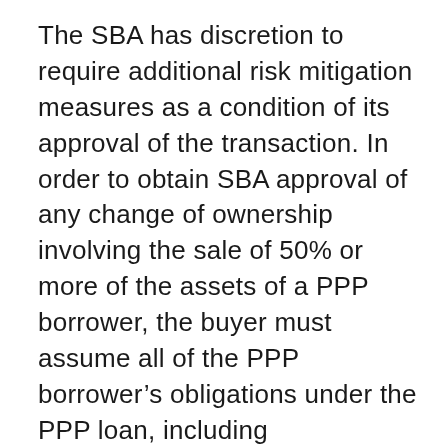The SBA has discretion to require additional risk mitigation measures as a condition of its approval of the transaction. In order to obtain SBA approval of any change of ownership involving the sale of 50% or more of the assets of a PPP borrower, the buyer must assume all of the PPP borrower’s obligations under the PPP loan, including responsibility for compliance with the PPP loan terms, and the purchase agreement must include appropriate language regarding the assumption of the PPP borrower’s obligations under the PPP loan by the buyer, or a separate assumption